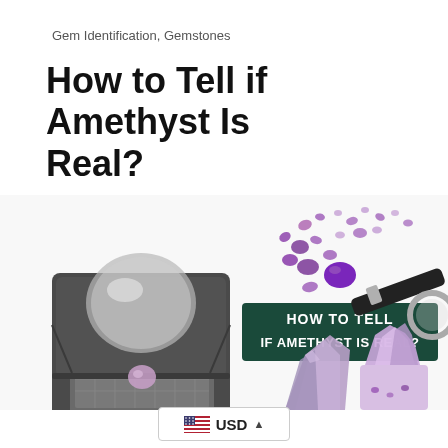Gem Identification, Gemstones
How to Tell if Amethyst Is Real?
[Figure (photo): Composite image showing a loupe/magnifier with a small amethyst gemstone underneath, scattered purple amethyst gems and crystals, a dark pen/loupe, raw amethyst crystal clusters, and a dark green banner with white bold text reading 'HOW TO TELL IF AMETHYST IS REAL?']
USD